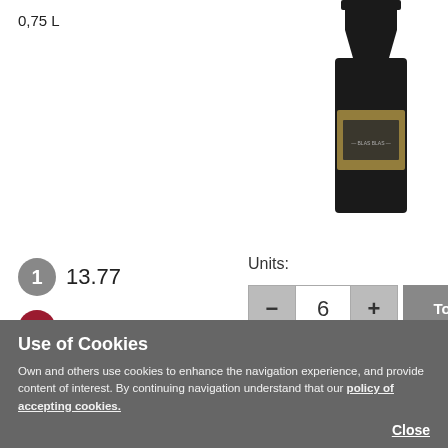0,75 L
[Figure (photo): Wine bottle, dark glass, partially visible on right side of page]
1  13.77
6  13.5
Units:
—  6  +  Total: 81£
ADD
Description
Use of Cookies
Own and others use cookies to enhance the navigation experience, and provide content of interest. By continuing navigation understand that our policy of accepting cookies.
Close